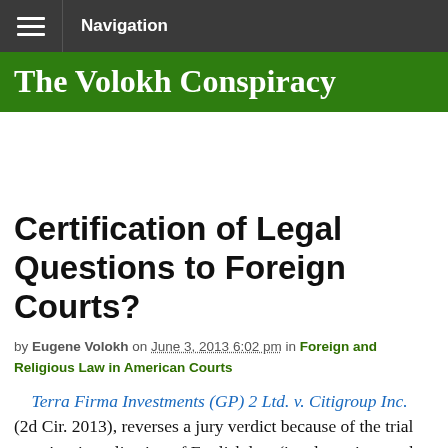Navigation
The Volokh Conspiracy
Certification of Legal Questions to Foreign Courts?
by Eugene Volokh on June 3, 2013 6:02 pm in Foreign and Religious Law in American Courts
Terra Firma Investments (GP) 2 Ltd. v. Citigroup Inc. (2d Cir. 2013), reverses a jury verdict because of the trial court's misapplication of English law (in a lawsuit over the sale of the London-based EMI). Judge Lohier concurs, with this interesting